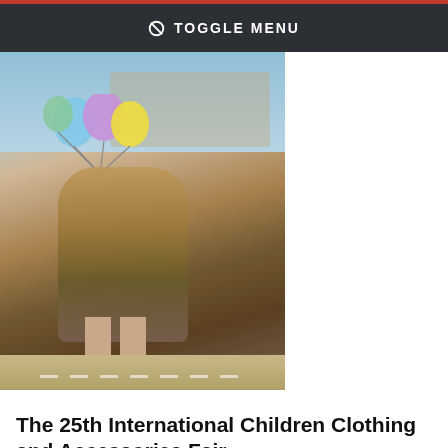TOGGLE MENU
[Figure (photo): Young girl in fashion clothing holding colorful balloons on a runway, with a painted backdrop of Rome/Colosseum and a vehicle.]
The 25th International Children Clothing and Accessories Fair
The International Babies & Children Clothing & Accessories Fair (Wintexpo) will open its doors in the Istanbul Fair Center on June 13-16, 2013.
14 MAY, 2013
[Figure (photo): Partial view of teal/turquoise fabric and a person's arm/hand against a light background.]